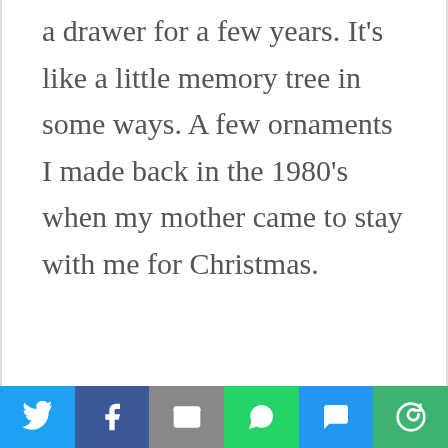a drawer for a few years. It's like a little memory tree in some ways. A few ornaments I made back in the 1980's when my mother came to stay with me for Christmas.
[Figure (infographic): Social sharing bar with icons for Twitter, Facebook, Email, WhatsApp, SMS, and More]